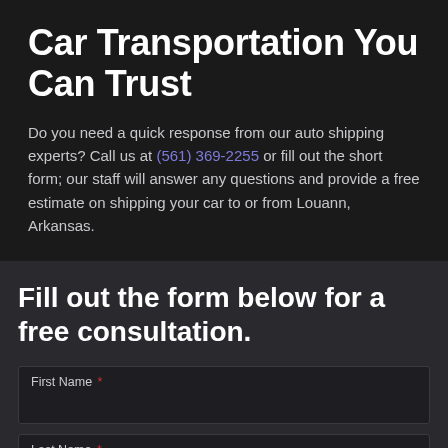Car Transportation You Can Trust
Do you need a quick response from our auto shipping experts? Call us at (561) 369-2255 or fill out the short form; our staff will answer any questions and provide a free estimate on shipping your car to or from Louann, Arkansas.
Fill out the form below for a free consultation.
First Name *
Last Name *